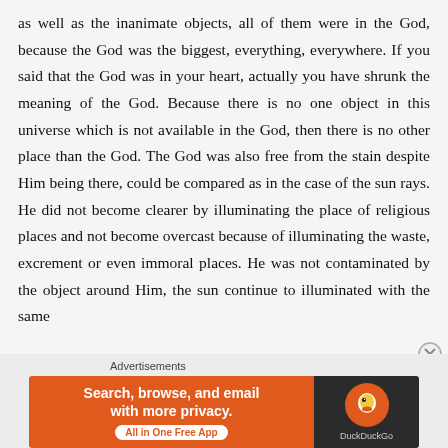as well as the inanimate objects, all of them were in the God, because the God was the biggest, everything, everywhere. If you said that the God was in your heart, actually you have shrunk the meaning of the God. Because there is no one object in this universe which is not available in the God, then there is no other place than the God. The God was also free from the stain despite Him being there, could be compared as in the case of the sun rays. He did not become clearer by illuminating the place of religious places and not become overcast because of illuminating the waste, excrement or even immoral places. He was not contaminated by the object around Him, the sun continue to illuminated with the same
[Figure (other): DuckDuckGo advertisement banner: orange background with text 'Search, browse, and email with more privacy. All in One Free App' and DuckDuckGo logo on dark background]